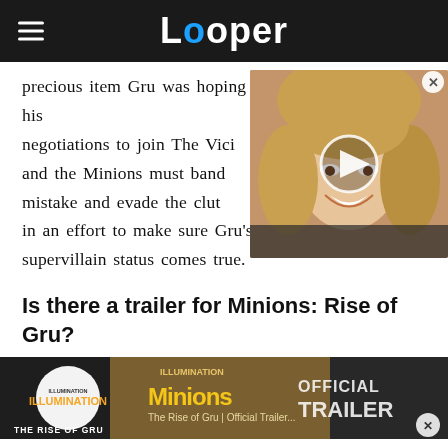Looper
precious item Gru was hoping to use as a pawn in his negotiations to join The Vici and the Minions must band mistake and evade the clut in an effort to make sure Gru's dream of achieving supervillain status comes true.
[Figure (screenshot): Video overlay showing a smiling blonde woman with a play button, with a close X button in the top right corner]
Is there a trailer for Minions: Rise of Gru?
[Figure (screenshot): Minions: The Rise of Gru Official Trailer video thumbnail showing Illumination logo and title text OFFICIAL TRAILER with a close X button]